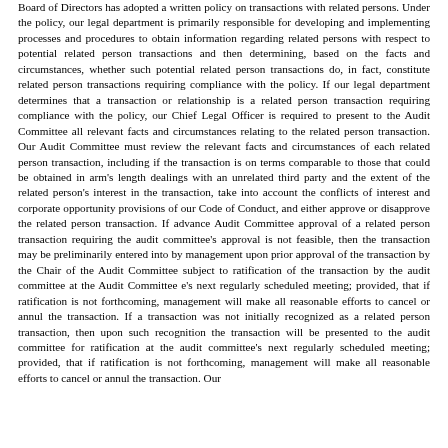Board of Directors has adopted a written policy on transactions with related persons. Under the policy, our legal department is primarily responsible for developing and implementing processes and procedures to obtain information regarding related persons with respect to potential related person transactions and then determining, based on the facts and circumstances, whether such potential related person transactions do, in fact, constitute related person transactions requiring compliance with the policy. If our legal department determines that a transaction or relationship is a related person transaction requiring compliance with the policy, our Chief Legal Officer is required to present to the Audit Committee all relevant facts and circumstances relating to the related person transaction. Our Audit Committee must review the relevant facts and circumstances of each related person transaction, including if the transaction is on terms comparable to those that could be obtained in arm's length dealings with an unrelated third party and the extent of the related person's interest in the transaction, take into account the conflicts of interest and corporate opportunity provisions of our Code of Conduct, and either approve or disapprove the related person transaction. If advance Audit Committee approval of a related person transaction requiring the audit committee's approval is not feasible, then the transaction may be preliminarily entered into by management upon prior approval of the transaction by the Chair of the Audit Committee subject to ratification of the transaction by the audit committee at the Audit Committee e's next regularly scheduled meeting; provided, that if ratification is not forthcoming, management will make all reasonable efforts to cancel or annul the transaction. If a transaction was not initially recognized as a related person transaction, then upon such recognition the transaction will be presented to the audit committee for ratification at the audit committee's next regularly scheduled meeting; provided, that if ratification is not forthcoming, management will make all reasonable efforts to cancel or annul the transaction. Our